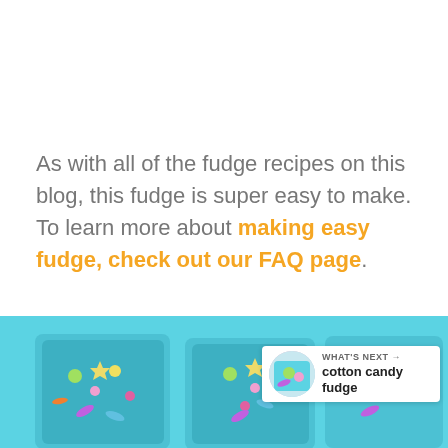As with all of the fudge recipes on this blog, this fudge is super easy to make. To learn more about making easy fudge, check out our FAQ page.
[Figure (photo): Photo of turquoise/teal fudge pieces topped with colorful sprinkles, shown from above on a white background. Multiple pieces visible across the bottom of the image.]
WHAT'S NEXT → cotton candy fudge